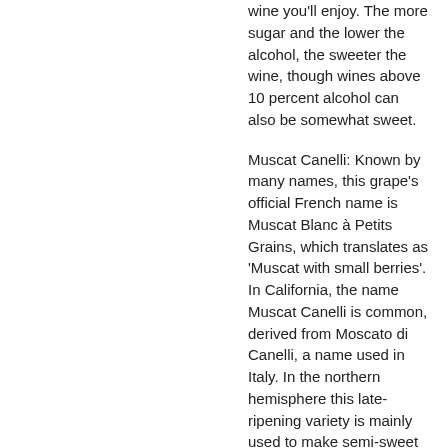wine you'll enjoy. The more sugar and the lower the alcohol, the sweeter the wine, though wines above 10 percent alcohol can also be somewhat sweet.
Muscat Canelli: Known by many names, this grape's official French name is Muscat Blanc à Petits Grains, which translates as 'Muscat with small berries'. In California, the name Muscat Canelli is common, derived from Moscato di Canelli, a name used in Italy. In the northern hemisphere this late-ripening variety is mainly used to make semi-sweet and sweet dessert wines, or as a table grape. Grown in many